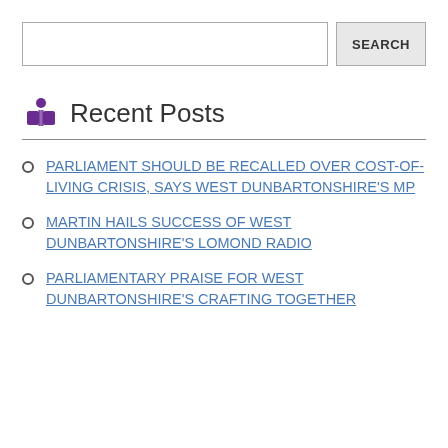[Figure (other): Search bar with text input field and SEARCH button]
Recent Posts
PARLIAMENT SHOULD BE RECALLED OVER COST-OF-LIVING CRISIS, SAYS WEST DUNBARTONSHIRE'S MP
MARTIN HAILS SUCCESS OF WEST DUNBARTONSHIRE'S LOMOND RADIO
PARLIAMENTARY PRAISE FOR WEST DUNBARTONSHIRE'S CRAFTING TOGETHER